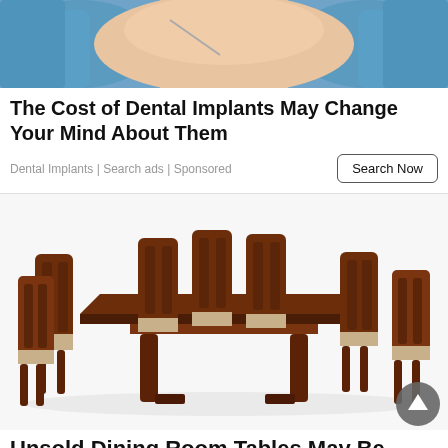[Figure (photo): Medical/dental image showing gloved hands near a person's shoulder or body area, with blue medical gloves visible on both sides]
The Cost of Dental Implants May Change Your Mind About Them
Dental Implants | Search ads | Sponsored
[Figure (photo): Ornate dark wooden dining room table set with 8 carved chairs featuring decorative backrests and upholstered seats with floral pattern, on white background]
Unsold Dining Room Tables May Be Almost